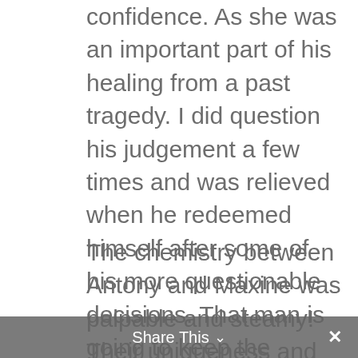confidence. As she was an important part of his healing from a past tragedy. I did question his judgement a few times and was relieved when he redeemed himself after some of his more questionable decisions. That man is going to keep the florists in Toronto in business! Also, any man who brings you treats or buys you brownies is a keeper. Just sayin'.
The chemistry between Antony and Maxine was palpable and steamy! Their uniqueness and differences made their more heated scenes a delight to read. Antony was charming, witty, and strong- which was a perfect compliment to Maxine's eagerness to be loved the way she wanted to be loved, and those moments when she stepped slightly out of her comfort zone- operating purely on instinct and base desires- and was bold
Share This